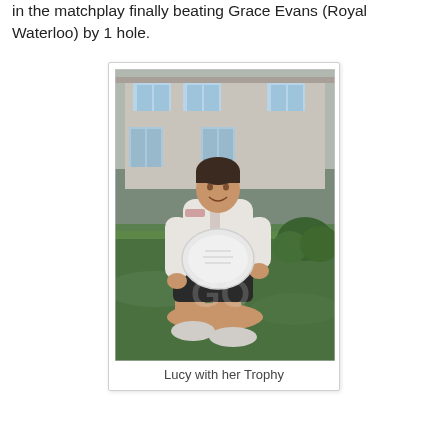in the matchplay finally beating Grace Evans (Royal Waterloo) by 1 hole.
[Figure (photo): A young woman sitting on grass in front of a large stone house, smiling and holding a silver salver trophy. She is wearing a white zip-up top and black shorts with white trainers.]
Lucy with her Trophy